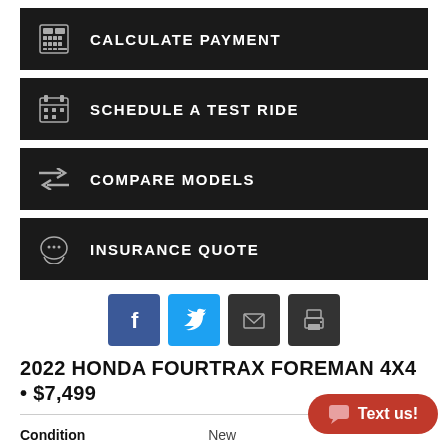CALCULATE PAYMENT
SCHEDULE A TEST RIDE
COMPARE MODELS
INSURANCE QUOTE
[Figure (infographic): Social share icons: Facebook, Twitter, Email, Print]
2022 HONDA FOURTRAX FOREMAN 4X4 • $7,499
|  |  |
| --- | --- |
| Condition | New |
| Category | ATVs |
| Model Family | FourTrax Foreman (4x4) |